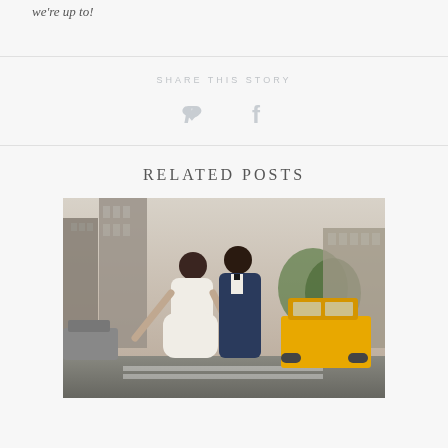we're up to!
SHARE THIS STORY
[Figure (other): Pinterest and Facebook share icons]
RELATED POSTS
[Figure (photo): Wedding couple posing on a New York City street, bride in white dress leaning back, groom in navy suit, yellow taxi cab visible in background]